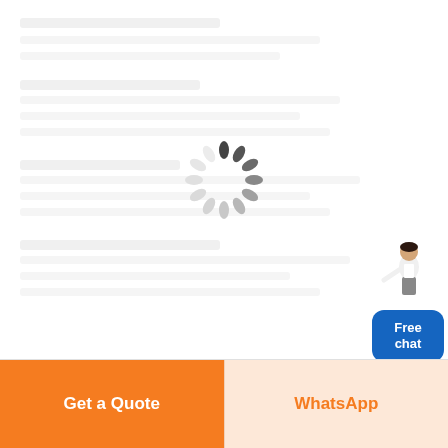[Figure (illustration): Loading spinner (circular spinner animation) centered on a mostly blank white page, indicating content is loading]
[Figure (illustration): Free chat widget in top-right corner showing a customer service representative figure above a blue rounded rectangle button with text 'Free chat']
Free chat
Get a Quote
WhatsApp